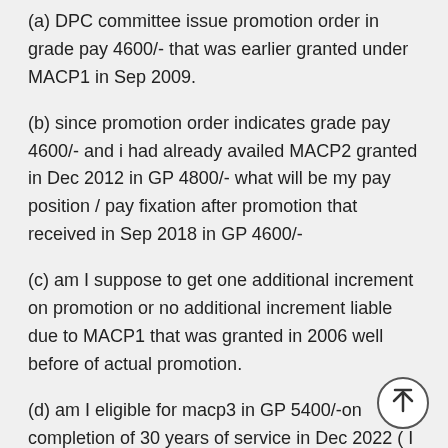(a) DPC committee issue promotion order in grade pay 4600/- that was earlier granted under MACP1 in Sep 2009.
(b) since promotion order indicates grade pay 4600/- and i had already availed MACP2 granted in Dec 2012 in GP 4800/- what will be my pay position / pay fixation after promotion that received in Sep 2018 in GP 4600/-
(c) am I suppose to get one additional increment on promotion or no additional increment liable due to MACP1 that was granted in 2006 well before of actual promotion.
(d) am I eligible for macp3 in GP 5400/-on completion of 30 years of service in Dec 2022 ( I